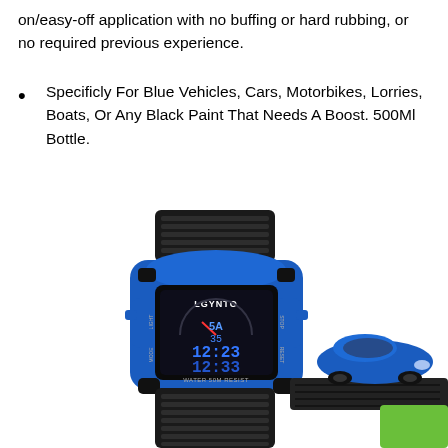on/easy-off application with no buffing or hard rubbing, or no required previous experience.
Specificly For Blue Vehicles, Cars, Motorbikes, Lorries, Boats, Or Any Black Paint That Needs A Boost. 500Ml Bottle.
[Figure (photo): A blue car-shaped digital watch (LGYNTO brand, WATER 50M RESIST) displayed on a wristband, showing time 12:23 and 12:33 on blue LCD display, next to a small blue toy sports car on a dark track, with a green rectangle accent in bottom right.]